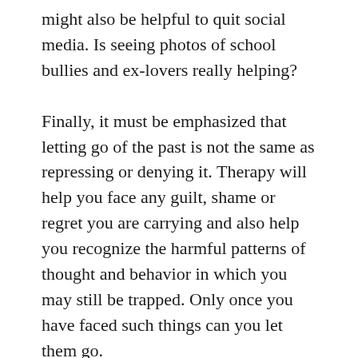might also be helpful to quit social media. Is seeing photos of school bullies and ex-lovers really helping?
Finally, it must be emphasized that letting go of the past is not the same as repressing or denying it. Therapy will help you face any guilt, shame or regret you are carrying and also help you recognize the harmful patterns of thought and behavior in which you may still be trapped. Only once you have faced such things can you let them go.
Practical Steps